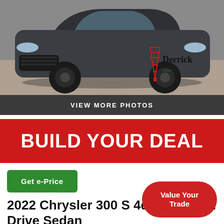[Figure (photo): Photo of a dark grey 2022 Chrysler 300 S sedan with black wheels, with Derrick Jeep dealership logo watermark in red and black in the lower right corner of the image.]
VIEW MORE PHOTOS
BUILD YOUR DEAL
Get e-Price
2022 Chrysler 300 S 4dr All-Wheel Drive Sedan
Value Your Trade